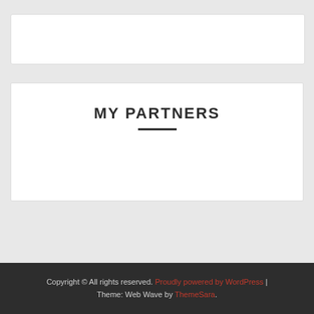[Figure (other): White card/widget area at the top of the page]
MY PARTNERS
Copyright © All rights reserved. Proudly powered by WordPress | Theme: Web Wave by ThemeSara.